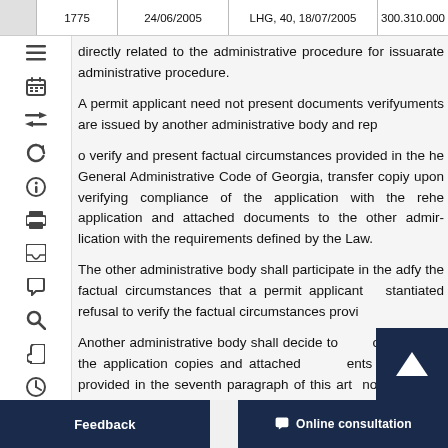|  | 1775 | 24/06/2005 | LHG, 40, 18/07/2005 | 300.310.000... |
| --- | --- | --- | --- | --- |
|  |
directly related to the administrative procedure for issu arate administrative procedure.
A permit applicant need not present documents verify uments are issued by another administrative body and rep
o verify and present factual circumstances provided in the he General Administrative Code of Georgia, transfer copie y upon verifying compliance of the application with the re he application and attached documents to the other admir lication with the requirements defined by the Law.
The other administrative body shall participate in the ad fy the factual circumstances that a permit applicant stantiated refusal to verify the factual circumstances provi
Another administrative body shall decide to ... or to mitting the application copies and attached ... ents umstances provided in the seventh paragraph of this art not later than five da... y makes a decision, it shall submit the decision to the n